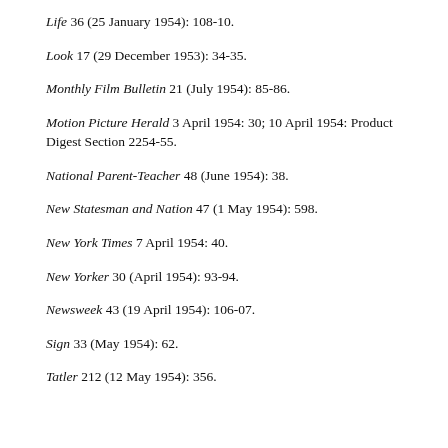Life 36 (25 January 1954): 108-10.
Look 17 (29 December 1953): 34-35.
Monthly Film Bulletin 21 (July 1954): 85-86.
Motion Picture Herald 3 April 1954: 30; 10 April 1954: Product Digest Section 2254-55.
National Parent-Teacher 48 (June 1954): 38.
New Statesman and Nation 47 (1 May 1954): 598.
New York Times 7 April 1954: 40.
New Yorker 30 (April 1954): 93-94.
Newsweek 43 (19 April 1954): 106-07.
Sign 33 (May 1954): 62.
Tatler 212 (12 May 1954): 356.